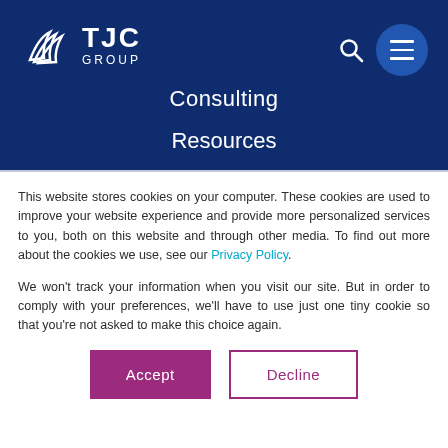[Figure (logo): TJC Group logo with stylized leaf/wing icon and text 'TJC GROUP' on dark blue header background]
Consulting
Resources
This website stores cookies on your computer. These cookies are used to improve your website experience and provide more personalized services to you, both on this website and through other media. To find out more about the cookies we use, see our Privacy Policy.
We won't track your information when you visit our site. But in order to comply with your preferences, we'll have to use just one tiny cookie so that you're not asked to make this choice again.
Accept   Decline